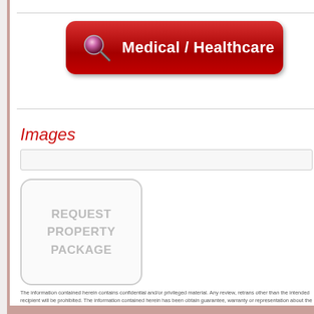[Figure (other): Red rounded button with magnifying glass icon and text 'Medical / Healthcare']
Images
[Figure (other): REQUEST PROPERTY PACKAGE placeholder box with rounded border]
The information contained herein contains confidential and/or privileged material. Any review, retrans other than the intended recipient will be prohibited. The information contained herein has been obtain guarantee, warranty or representation about the accuracy or completeness of the information. As a b assumptions or estimates used are for example only and do not represent the current or future perfo financial and legal advisors. You and your advisors should conduct a careful, independent investigati this offering other than the information received from Seller or their representatives. We are neither y of this property. As a buyer, you will be required to indemnify us and hold us harmless from any kind